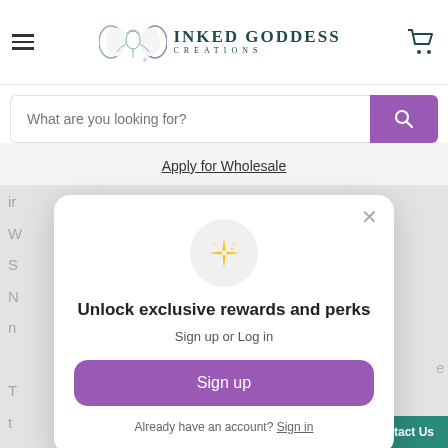[Figure (screenshot): Inked Goddess Creations website header with hamburger menu, logo (triple moon goddess), brand name, and shopping cart icon]
What are you looking for?
Apply for Wholesale
[Figure (screenshot): Rewards popup modal overlay on the Inked Goddess Creations website showing sparkle icon, 'Unlock exclusive rewards and perks' heading, 'Sign up or Log in' subtext, Sign up button, and 'Already have an account? Sign in' footer]
Unlock exclusive rewards and perks
Sign up or Log in
Sign up
Already have an account? Sign in